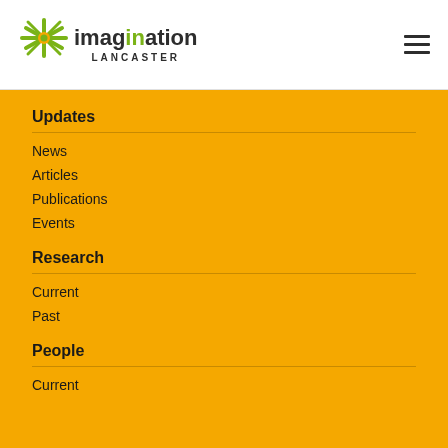[Figure (logo): Imagination Lancaster logo with starburst graphic and green/dark text]
Updates
News
Articles
Publications
Events
Research
Current
Past
People
Current